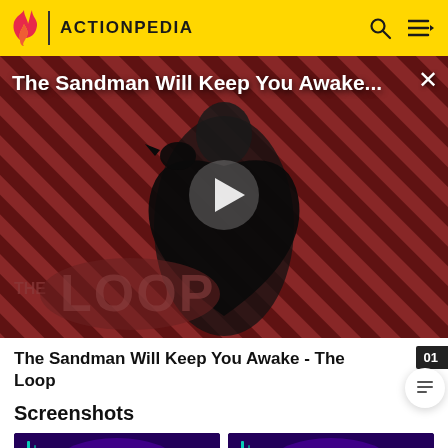ACTIONPEDIA
[Figure (screenshot): Video player showing 'The Sandman Will Keep You Awake...' with a figure in black robes holding a raven, diagonal red/dark striped background, THE LOOP watermark, play button overlay]
The Sandman Will Keep You Awake - The Loop
Screenshots
[Figure (screenshot): Two thumbnail screenshots showing purple-toned scene with car interior]